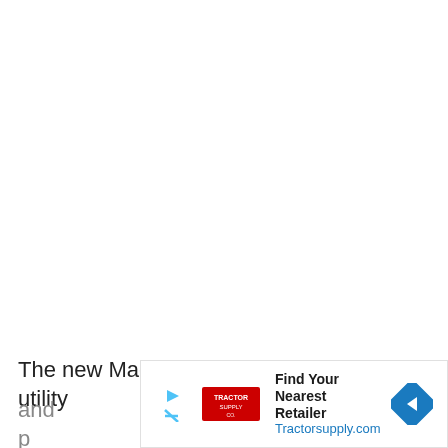The new MacBook Pro was designed with utility
and p
alumi ... em
[Figure (other): Advertisement banner for Tractor Supply Co. with text 'Find Your Nearest Retailer' and 'Tractorsupply.com', play and close buttons on left, navigation arrow icon on right.]